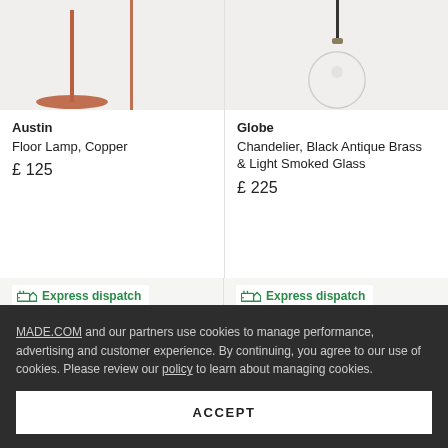[Figure (photo): Austin Floor Lamp in Copper - partial product image from top, showing the lamp base and pole]
[Figure (photo): Globe Chandelier in Black Antique Brass & Light Smoked Glass - partial product image showing a globe pendant light]
Austin
Floor Lamp, Copper
£ 125
Globe
Chandelier, Black Antique Brass & Light Smoked Glass
£ 225
Express dispatch
Express dispatch
MADE.COM and our partners use cookies to manage performance, advertising and customer experience. By continuing, you agree to our use of cookies. Please review our policy to learn about managing cookies.
ACCEPT